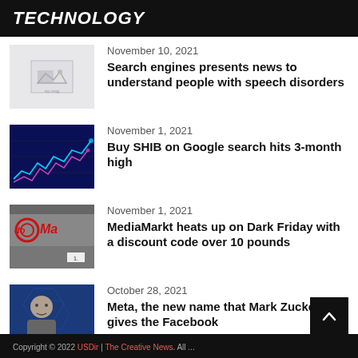TECHNOLOGY
November 10, 2021
Search engines presents news to understand people with speech disorders
November 1, 2021
Buy SHIB on Google search hits 3-month high
November 1, 2021
MediaMarkt heats up on Dark Friday with a discount code over 10 pounds
October 28, 2021
Meta, the new name that Mark Zuckerberg gives the Facebook
Copyright © 2022 USDir | The Creative News. All ...